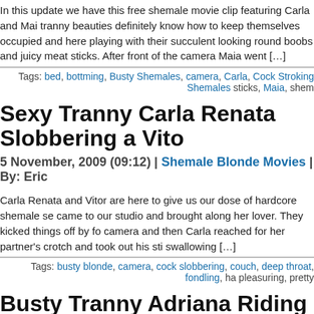In this update we have this free shemale movie clip featuring Carla and Mai tranny beauties definitely know how to keep themselves occupied and here playing with their succulent looking round boobs and juicy meat sticks. After front of the camera Maia went […]
Tags: bed, bottming, Busty Shemales, camera, Carla, Cock Stroking Shemales sticks, Maia, shem
Sexy Tranny Carla Renata Slobbering a Vito
5 November, 2009 (09:12) | Shemale Blonde Movies | By: Eric
Carla Renata and Vitor are here to give us our dose of hardcore shemale se came to our studio and brought along her lover. They kicked things off by fo camera and then Carla reached for her partner's crotch and took out his sti swallowing […]
Tags: busty blonde, camera, cock slobbering, couch, deep throat, fondling, ha pleasuring, pretty
Busty Tranny Adriana Riding Tayssa's Cock
30 October, 2009 (08:55) | Shemale Brunette Movies | By: Eric
Adriana and Tayssa are here to show us more of their hard looking round b cocks in this featured free shemale movie. Here we have them posing nak